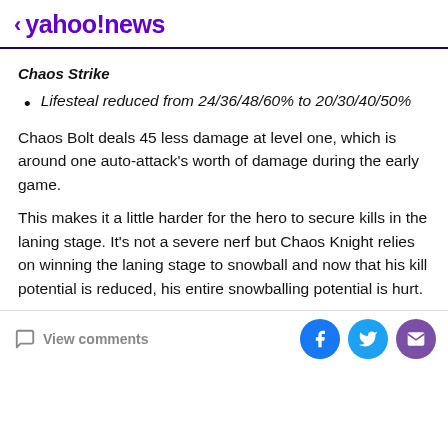< yahoo!news
Chaos Strike
Lifesteal reduced from 24/36/48/60% to 20/30/40/50%
Chaos Bolt deals 45 less damage at level one, which is around one auto-attack's worth of damage during the early game.
This makes it a little harder for the hero to secure kills in the laning stage. It's not a severe nerf but Chaos Knight relies on winning the laning stage to snowball and now that his kill potential is reduced, his entire snowballing potential is hurt.
View comments